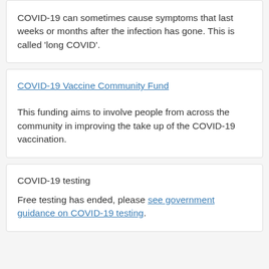COVID-19 can sometimes cause symptoms that last weeks or months after the infection has gone. This is called 'long COVID'.
COVID-19 Vaccine Community Fund
This funding aims to involve people from across the community in improving the take up of the COVID-19 vaccination.
COVID-19 testing
Free testing has ended, please see government guidance on COVID-19 testing.